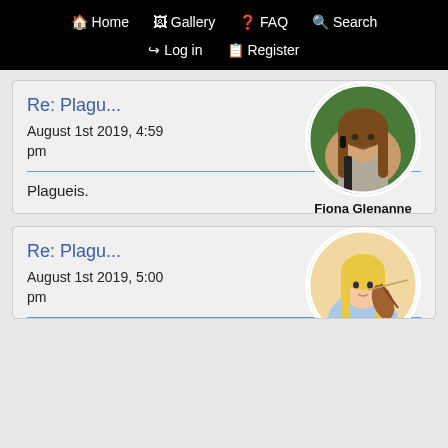Home  Gallery  FAQ  Search  Log in  Register
Re: Plagu...
August 1st 2019, 4:59 pm
[Figure (photo): Circular avatar photo of Fiona Glenanne, a woman with long brown hair holding a firearm against a green leafy background.]
Fiona Glenanne
Plagueis.
Re: Plagu...
August 1st 2019, 5:00 pm
[Figure (illustration): Circular avatar illustration of an anime-style girl with long blonde hair playing a violin, warm beige background.]